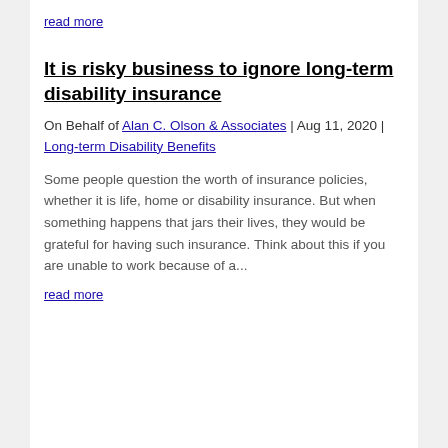read more
It is risky business to ignore long-term disability insurance
On Behalf of Alan C. Olson & Associates | Aug 11, 2020 | Long-term Disability Benefits
Some people question the worth of insurance policies, whether it is life, home or disability insurance. But when something happens that jars their lives, they would be grateful for having such insurance. Think about this if you are unable to work because of a...
read more